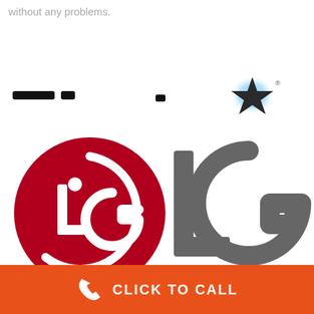without any problems.
[Figure (logo): Small partial logos/marks visible near top center and right — partial text marks and a star logo with glowing blue effect]
[Figure (logo): LG Electronics logo — red circle with LG letters inside on left, large gray 'LG' text on right]
CLICK TO CALL